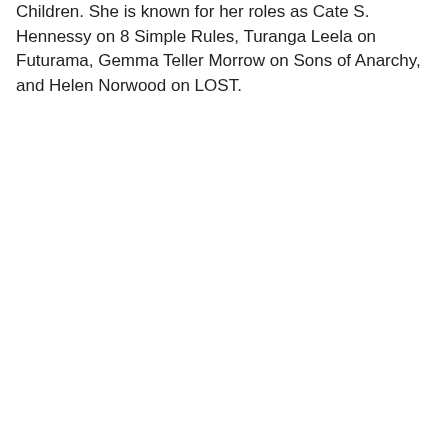Children. She is known for her roles as Cate S. Hennessy on 8 Simple Rules, Turanga Leela on Futurama, Gemma Teller Morrow on Sons of Anarchy, and Helen Norwood on LOST.